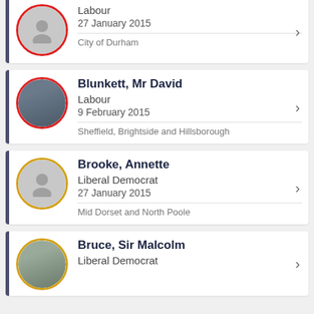Labour
27 January 2015
City of Durham
Blunkett, Mr David
Labour
9 February 2015
Sheffield, Brightside and Hillsborough
Brooke, Annette
Liberal Democrat
27 January 2015
Mid Dorset and North Poole
Bruce, Sir Malcolm
Liberal Democrat